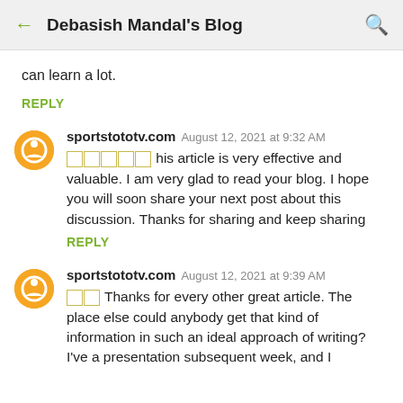← Debasish Mandal's Blog 🔍
can learn a lot.
REPLY
sportstototv.com  August 12, 2021 at 9:32 AM
□□□□□ his article is very effective and valuable. I am very glad to read your blog. I hope you will soon share your next post about this discussion. Thanks for sharing and keep sharing
REPLY
sportstototv.com  August 12, 2021 at 9:39 AM
□□ Thanks for every other great article. The place else could anybody get that kind of information in such an ideal approach of writing?
I've a presentation subsequent week, and I